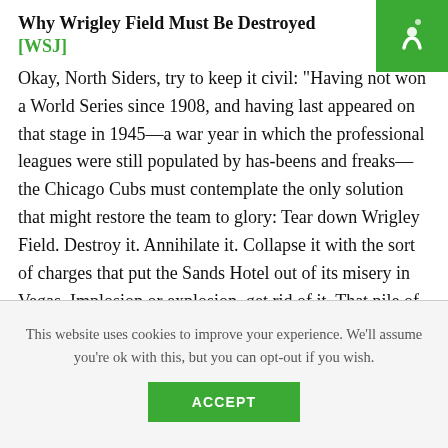Why Wrigley Field Must Be Destroyed [WSJ]
Okay, North Siders, try to keep it civil: "Having not won a World Series since 1908, and having last appeared on that stage in 1945—a war year in which the professional leagues were still populated by has-beens and freaks—the Chicago Cubs must contemplate the only solution that might restore the team to glory: Tear down Wrigley Field. Destroy it. Annihilate it. Collapse it with the sort of charges that put the Sands Hotel out of its misery in Vegas. Implosion or explosion, get rid of it. That pile of quaintness has to go. Not merely the structure, but the ground on which it stands."
This website uses cookies to improve your experience. We'll assume you're ok with this, but you can opt-out if you wish.